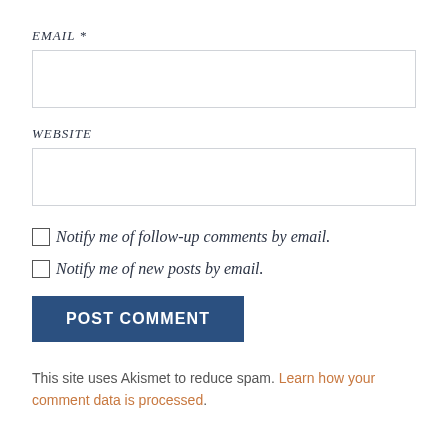EMAIL *
[Figure (other): Empty text input field for EMAIL]
WEBSITE
[Figure (other): Empty text input field for WEBSITE]
Notify me of follow-up comments by email.
Notify me of new posts by email.
[Figure (other): POST COMMENT button in dark blue]
This site uses Akismet to reduce spam. Learn how your comment data is processed.